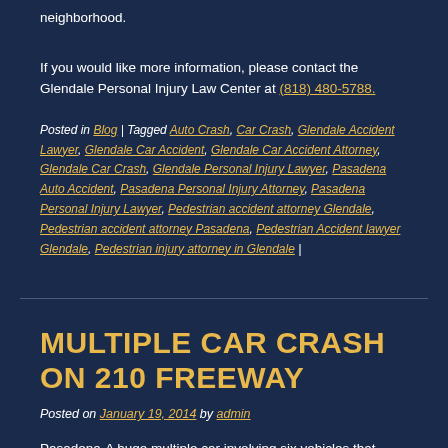neighborhood.
If you would like more information, please contact the Glendale Personal Injury Law Center at (818) 480-5788.
Posted in Blog | Tagged Auto Crash, Car Crash, Glendale Accident Lawyer, Glendale Car Accident, Glendale Car Accident Attorney, Glendale Car Crash, Glendale Personal Injury Lawyer, Pasadena Auto Accident, Pasadena Personal Injury Attorney, Pasadena Personal Injury Lawyer, Pedestrian accident attorney Glendale, Pedestrian accident attorney Pasadena, Pedestrian Accident lawyer Glendale, Pedestrian injury attorney in Glendale |
MULTIPLE CAR CRASH ON 210 FREEWAY
Posted on January 19, 2014 by admin
Pasadena-A huge multiple car involving six vehicles that